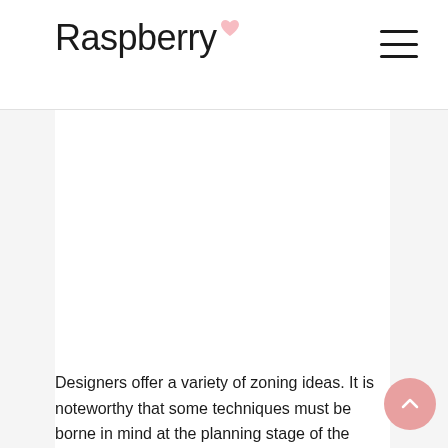Raspberry
[Figure (illustration): Large white content box/image placeholder area below the header]
Designers offer a variety of zoning ideas. It is noteworthy that some techniques must be borne in mind at the planning stage of the interior